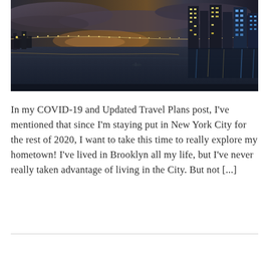[Figure (photo): Nighttime cityscape photo showing a river (likely the East River in New York) with a bridge lit up with lights stretching across the water, illuminated city skyscrapers on the right side, and a dramatic cloudy sky with sunset tones in the background.]
In my COVID-19 and Updated Travel Plans post, I've mentioned that since I'm staying put in New York City for the rest of 2020, I want to take this time to really explore my hometown! I've lived in Brooklyn all my life, but I've never really taken advantage of living in the City. But not [...]